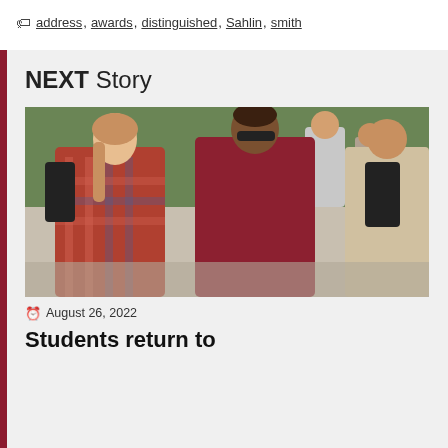address, awards, distinguished, Sahlin, smith
NEXT Story
[Figure (photo): Students walking on campus, smiling and talking. A woman in a plaid red shirt with a backpack and a man in a red polo shirt with sunglasses are in the foreground, with other students visible in the background.]
August 26, 2022
Students return to